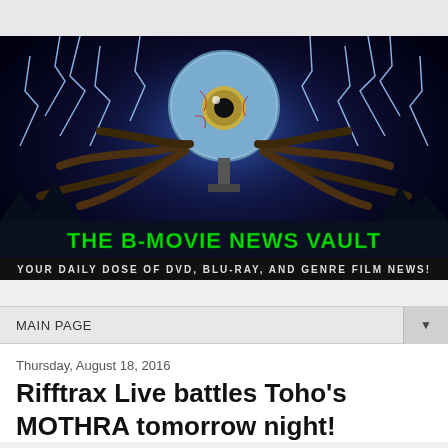[Figure (illustration): The B-Movie News Vault website banner. Dark background with blue lightning bolts and a giant eyeball monster with tentacles. Green graffiti-style text reads 'THE B-MOVIE NEWS VAULT' with subtitle 'YOUR DAILY DOSE OF DVD, BLU-RAY, AND GENRE FILM NEWS!']
MAIN PAGE
Thursday, August 18, 2016
Rifftrax Live battles Toho's MOTHRA tomorrow night!